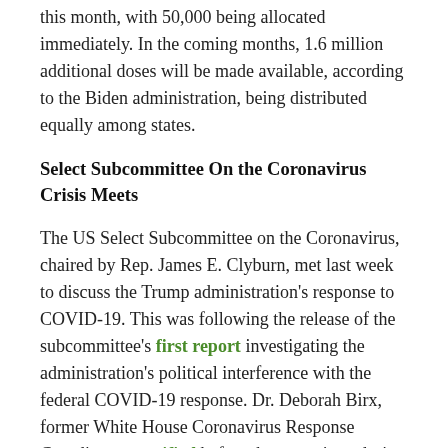this month, with 50,000 being allocated immediately. In the coming months, 1.6 million additional doses will be made available, according to the Biden administration, being distributed equally among states.
Select Subcommittee On the Coronavirus Crisis Meets
The US Select Subcommittee on the Coronavirus, chaired by Rep. James E. Clyburn, met last week to discuss the Trump administration's response to COVID-19. This was following the release of the subcommittee's first report investigating the administration's political interference with the federal COVID-19 response. Dr. Deborah Birx, former White House Coronavirus Response Coordinator, testified before the committee during a hearing, in which she stated that "dangerous ideas" undermined the